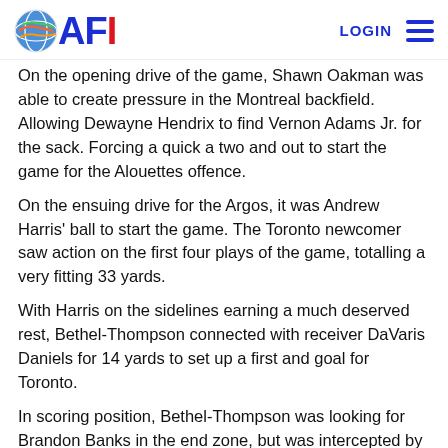AFI — LOGIN (navigation)
On the opening drive of the game, Shawn Oakman was able to create pressure in the Montreal backfield. Allowing Dewayne Hendrix to find Vernon Adams Jr. for the sack. Forcing a quick a two and out to start the game for the Alouettes offence.
On the ensuing drive for the Argos, it was Andrew Harris' ball to start the game. The Toronto newcomer saw action on the first four plays of the game, totalling a very fitting 33 yards.
With Harris on the sidelines earning a much deserved rest, Bethel-Thompson connected with receiver DaVaris Daniels for 14 yards to set up a first and goal for Toronto.
In scoring position, Bethel-Thompson was looking for Brandon Banks in the end zone, but was intercepted by Mike Jones. After some deliberation from the officials, the interception was ruled incomplete, leading to a 17-yard field goal from Boris Bede to open